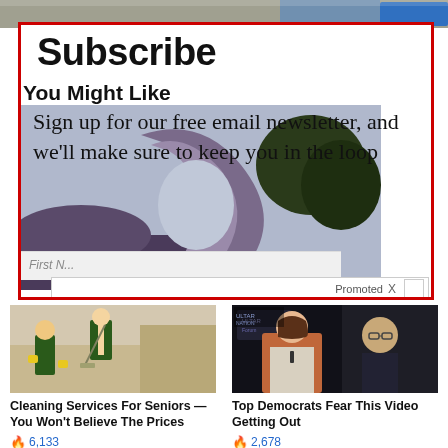[Figure (photo): Top banner photo strip showing blurred background scene with blue tones]
Subscribe
You Might Like
[Figure (photo): Sculptural crescent moon shape made of flowers/foliage against a sky background with trees, partially obscured by overlaid text]
Sign up for our free email newsletter, and we'll make sure to keep you in the loop
Promoted X
[Figure (photo): Two women in green uniforms with yellow gloves cleaning a floor, mopping in a bright interior space]
Cleaning Services For Seniors — You Won't Believe The Prices
🔥 6,133
[Figure (photo): Woman in orange blazer speaking at an event with a man in glasses behind her, appearing to be a political figure]
Top Democrats Fear This Video Getting Out
🔥 2,678